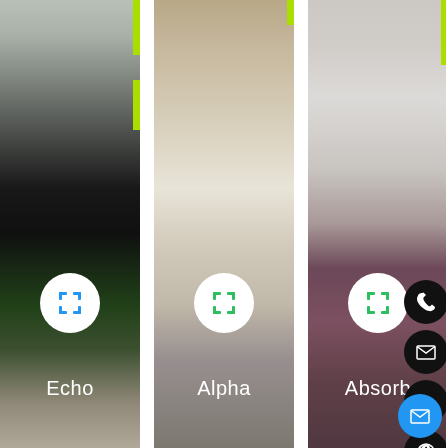[Figure (screenshot): Three product panels side by side: Echo (dark room with green accent), Alpha (acoustic panels room), Absorb (office/meeting room with person). Each panel has a white circle expand icon and a text label at the bottom. Right side has black circular social icons (phone, email, LinkedIn, Pinterest) and a blue circular email button at bottom right. Lime green accent bars appear at top of separator areas.]
Echo
Alpha
Absorb